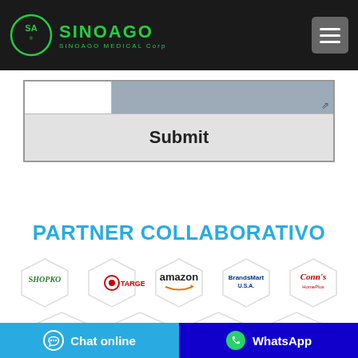[Figure (logo): SinoAgo Medical Corp logo with circular emblem and green text on black header bar]
[Figure (screenshot): Web form partial view showing a text input row with gray textarea and a Submit button on light gray background]
PARTNER COLLABORATIVO
[Figure (logo): Row of partner logos: Shopko, Target, Amazon, BrandsMart USA, Conn's HomePlus]
[Figure (logo): Row of partner logos: Costco, CVS pharmacy, Ralphs, Alibaba.com]
Chat online
WhatsApp